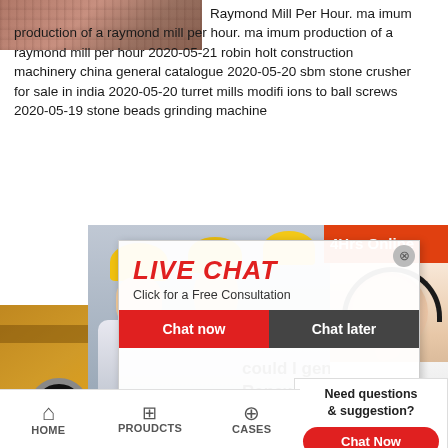[Figure (photo): Partial top image strip showing textured reddish-brown surface]
Raymond Mill Per Hour. ma imum production of a raymond mill per hour. ma imum production of a raymond mill per hour 2020-05-21 robin holt construction machinery china general catalogue 2020-05-20 sbm stone crusher for sale in india 2020-05-20 turret mills modifi ions to ball screws 2020-05-19 stone beads grinding machine
[Figure (photo): Yellow industrial crushing machinery on left side]
[Figure (photo): Three workers in yellow hard hats standing together]
[Figure (screenshot): Live Chat popup overlay with LIVE CHAT heading, Click for a Free Consultation, Chat now and Chat later buttons]
[Figure (photo): 24Hrs Online header bar with female customer service agent wearing headset]
could I gene
Renewables
Annual Energy P
Maximum power output (kW) x No. hours in a yea
[Figure (screenshot): Need questions & suggestion? panel with Chat Now button, Enquiry link, and limingjlmofen link]
HOME   PROUDCTS   CASES   limingjlmofen